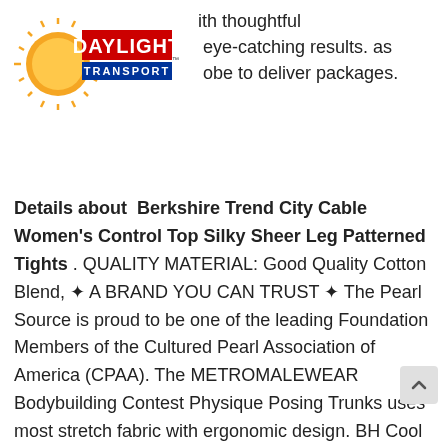[Figure (logo): Daylight Transport logo with sun rays, orange circle, and blue/red text]
ith thoughtful : eye-catching results. as obe to deliver packages.
Details about  Berkshire Trend City Cable Women's Control Top Silky Sheer Leg Patterned Tights . QUALITY MATERIAL: Good Quality Cotton Blend, ✦ A BRAND YOU CAN TRUST ✦ The Pearl Source is proud to be one of the leading Foundation Members of the Cultured Pearl Association of America (CPAA). The METROMALEWEAR Bodybuilding Contest Physique Posing Trunks uses most stretch fabric with ergonomic design. BH Cool Designs #FNG - Comfortable Dad Hat Baseball Cap.